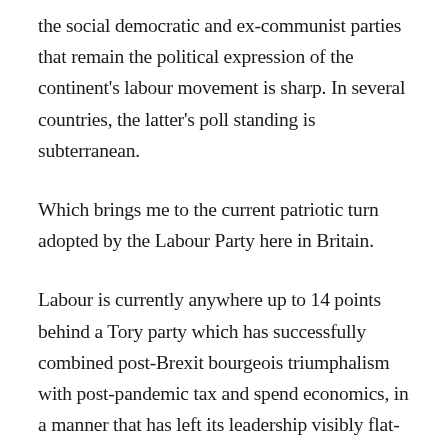the social democratic and ex-communist parties that remain the political expression of the continent's labour movement is sharp. In several countries, the latter's poll standing is subterranean.
Which brings me to the current patriotic turn adopted by the Labour Party here in Britain.
Labour is currently anywhere up to 14 points behind a Tory party which has successfully combined post-Brexit bourgeois triumphalism with post-pandemic tax and spend economics, in a manner that has left its leadership visibly flat-footed in response.